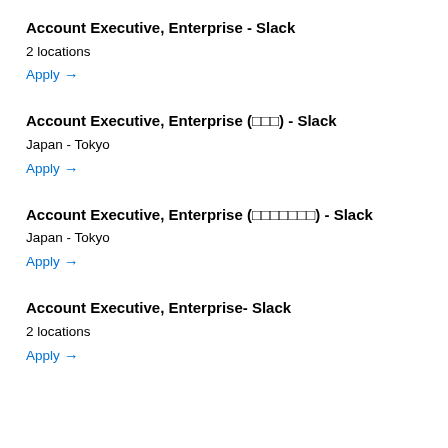Account Executive, Enterprise - Slack
2 locations
Apply →
Account Executive, Enterprise (□□□) - Slack
Japan - Tokyo
Apply →
Account Executive, Enterprise (□□□□□□□) - Slack
Japan - Tokyo
Apply →
Account Executive, Enterprise- Slack
2 locations
Apply →